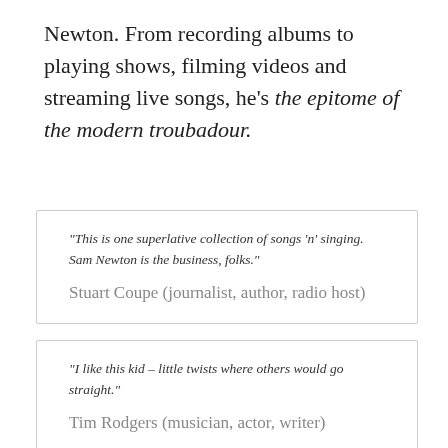Newton. From recording albums to playing shows, filming videos and streaming live songs, he's the epitome of the modern troubadour.
“This is one superlative collection of songs ‘n’ singing. Sam Newton is the business, folks.”
Stuart Coupe (journalist, author, radio host)
“I like this kid – little twists where others would go straight.”
Tim Rodgers (musician, actor, writer)